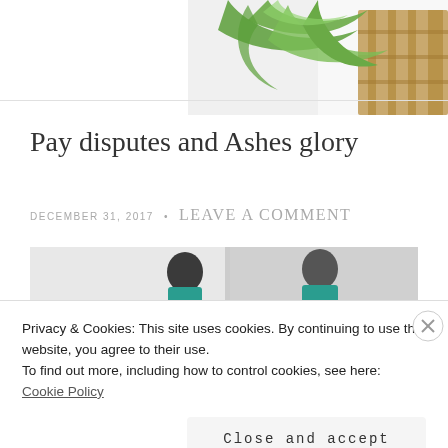[Figure (photo): Partial view of tropical plant with green leaves and bamboo/wicker material, cropped in top-right corner of the page.]
Pay disputes and Ashes glory
DECEMBER 31, 2017 • LEAVE A COMMENT
[Figure (photo): Partial view of a person, background appears light colored. Article image partially visible.]
Privacy & Cookies: This site uses cookies. By continuing to use this website, you agree to their use.
To find out more, including how to control cookies, see here: Cookie Policy
Close and accept